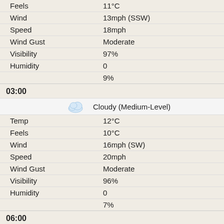| Field | Value |
| --- | --- |
| Feels | 11°C |
| Wind | 13mph (SSW) |
| Speed | 18mph |
| Wind Gust | Moderate |
| Visibility | 97% |
| Humidity | 0 |
|  | 9% |
03:00
| Field | Value |
| --- | --- |
| Weather | Cloudy (Medium-Level) |
| Temp | 12°C |
| Feels | 10°C |
| Wind | 16mph (SW) |
| Speed | 20mph |
| Wind Gust | Moderate |
| Visibility | 96% |
| Humidity | 0 |
|  | 7% |
06:00
| Field | Value |
| --- | --- |
| Weather | Cloudy (Medium-Level) |
| Temp | 13°C |
| Feels | 10°C |
| Wind | 13mph (SSW) |
| Speed | 20mph |
| Wind Gust | Good |
| Visibility | 95% |